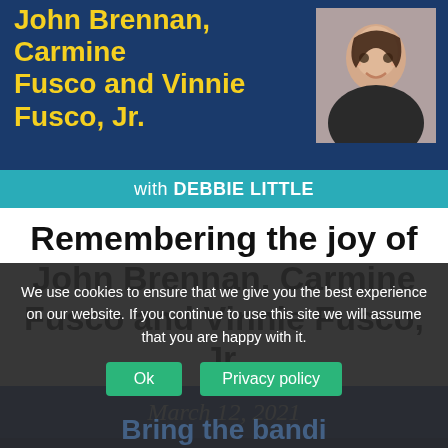[Figure (illustration): Website header banner with dark blue background showing bold yellow text 'John Brennan, Carmine Fusco and Vinnie Fusco, Jr.' and a photo of a smiling woman on the right side]
with DEBBIE LITTLE
Remembering the joy of John Brennan, Carmine Fusco and Vinnie Fusco, Jr.
March 12, 2021
We use cookies to ensure that we give you the best experience on our website. If you continue to use this site we will assume that you are happy with it.
Ok
Privacy policy